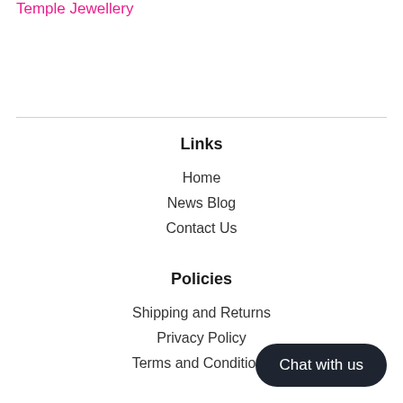Temple Jewellery
Links
Home
News Blog
Contact Us
Policies
Shipping and Returns
Privacy Policy
Terms and Conditions
Chat with us